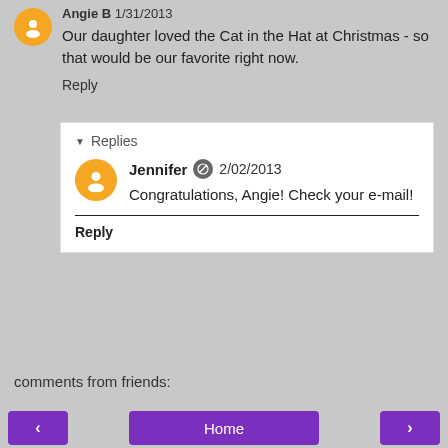Angie B 1/31/2013
Our daughter loved the Cat in the Hat at Christmas - so that would be our favorite right now.
Reply
Replies
Jennifer 2/02/2013
Congratulations, Angie! Check your e-mail!
Reply
comments from friends:
Home